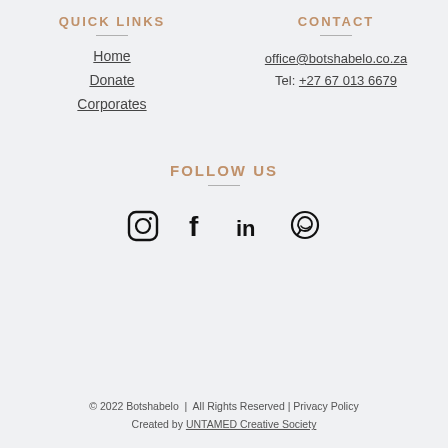QUICK LINKS
CONTACT
Home
Donate
Corporates
office@botshabelo.co.za
Tel: +27 67 013 6679
FOLLOW US
[Figure (illustration): Social media icons: Instagram, Facebook, LinkedIn, WhatsApp]
© 2022 Botshabelo  |  All Rights Reserved | Privacy Policy
Created by UNTAMED Creative Society